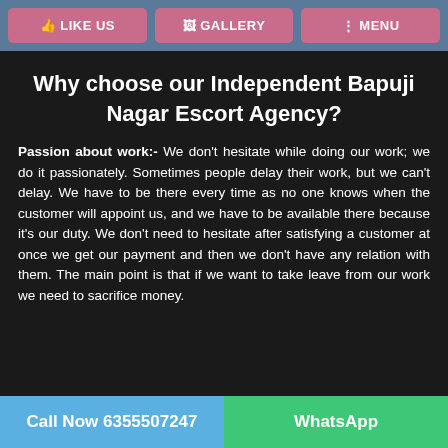LIKE US | GALLERY | MENU
Why choose our Independent Bapuji Nagar Escort Agency?
Passion about work:- We don't hesitate while doing our work; we do it passionately. Sometimes people delay their work, but we can't delay. We have to be there every time as no one knows when the customer will appoint us, and we have to be available there because it's our duty. We don't need to hesitate after satisfying a customer at once we get our payment and then we don't have any relation with them. The main point is that if we want to take leave from our work we need to sacrifice money.
Call Now 6355507247 | WhatsApp